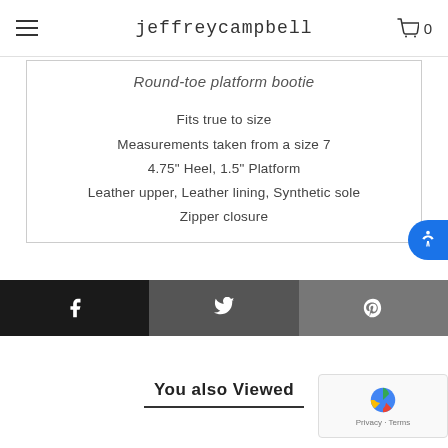jeffreycampbell
Round-toe platform bootie
Fits true to size
Measurements taken from a size 7
4.75" Heel, 1.5" Platform
Leather upper, Leather lining, Synthetic sole
Zipper closure
[Figure (infographic): Social sharing bar with Facebook, Twitter, and Pinterest buttons]
You also Viewed